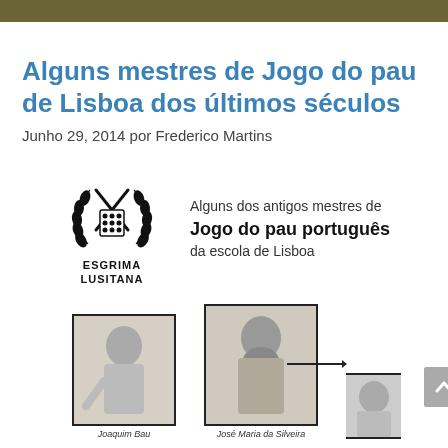Alguns mestres de Jogo do pau de Lisboa dos últimos séculos
Junho 29, 2014 por Frederico Martins
[Figure (infographic): Esgrima Lusitana logo with crossed sticks and laurel wreath, alongside text reading 'Alguns dos antigos mestres de Jogo do pau português da escola de Lisboa']
[Figure (photo): Black and white portrait photo labeled 'Joaquim Bau']
[Figure (photo): Black and white portrait photo labeled 'José Maria da Silveira']
[Figure (photo): Partial black and white portrait photo at the right edge]